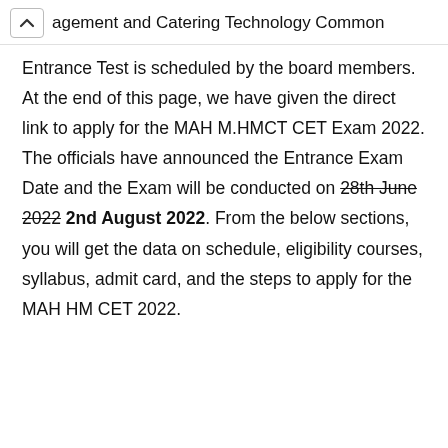agement and Catering Technology Common
Entrance Test is scheduled by the board members. At the end of this page, we have given the direct link to apply for the MAH M.HMCT CET Exam 2022. The officials have announced the Entrance Exam Date and the Exam will be conducted on 28th June 2022 2nd August 2022. From the below sections, you will get the data on schedule, eligibility courses, syllabus, admit card, and the steps to apply for the MAH HM CET 2022.